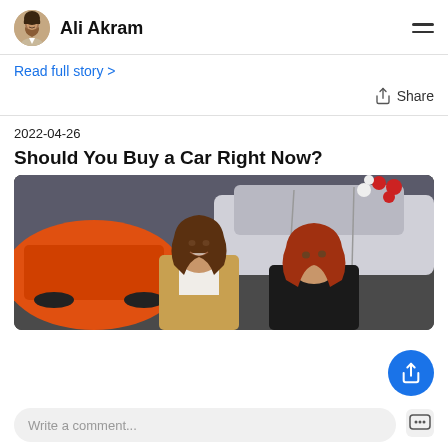Ali Akram
Read full story >
Share
2022-04-26
Should You Buy a Car Right Now?
[Figure (photo): Two young women in a car dealership, one smiling wearing a beige blazer, with orange and white cars visible in the background.]
Write a comment...